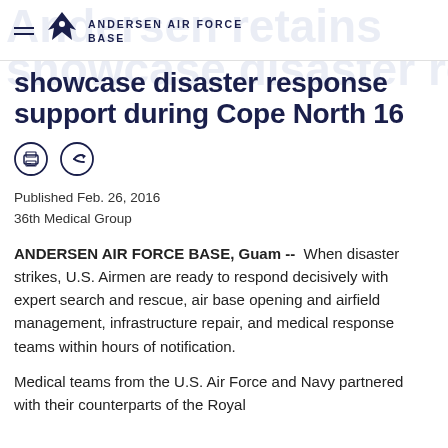ANDERSEN AIR FORCE BASE
showcase disaster response support during Cope North 16
Published Feb. 26, 2016
36th Medical Group
ANDERSEN AIR FORCE BASE, Guam --  When disaster strikes, U.S. Airmen are ready to respond decisively with expert search and rescue, air base opening and airfield management, infrastructure repair, and medical response teams within hours of notification.
Medical teams from the U.S. Air Force and Navy partnered with their counterparts of the Royal